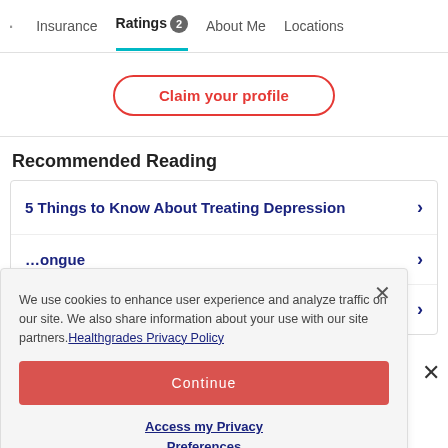Insurance  Ratings 2  About Me  Locations
Claim your profile
Recommended Reading
5 Things to Know About Treating Depression
…ongue
We use cookies to enhance user experience and analyze traffic on our site. We also share information about your use with our site partners. Healthgrades Privacy Policy
Continue
Access my Privacy Preferences